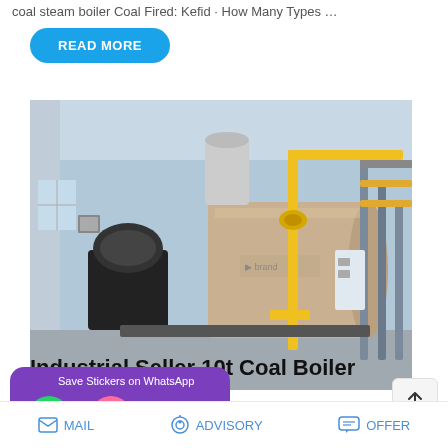coal steam boiler Coal Fired: Kefid · How Many Types …
READ MORE
[Figure (photo): Industrial gas/oil fired steam boiler in a factory setting, showing a large horizontal pressure vessel with burner assembly, yellow gas piping, and industrial infrastructure]
Industrial Seller 10t Coal Boiler baijan
[Figure (infographic): WhatsApp promotional overlay with purple background, showing 'Save Stickers on WhatsApp' label and two circular icons]
MAIL   ADVISORY   OFFER